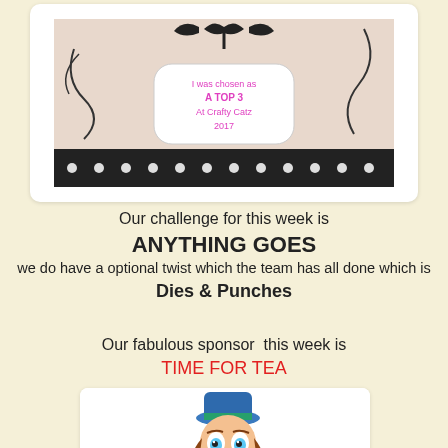[Figure (illustration): A decorative badge/award image with black bow, scrollwork, polka dot border, and pink text reading 'I was chosen as A TOP 3 At Crafty Catz 2017']
Our challenge for this week is
ANYTHING GOES
we do have a optional twist which the team has all done which is
Dies & Punches
Our fabulous sponsor  this week is
TIME FOR TEA
[Figure (illustration): A cartoon illustration of a young girl with brown pigtails wearing a blue outfit and green hat, in a whimsical style]